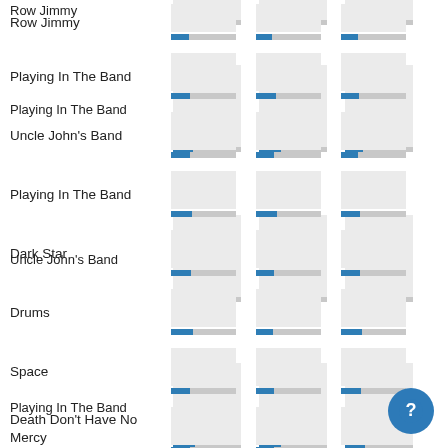Row Jimmy
[Figure (bar-chart): Three small bar/progress charts for Row Jimmy]
Playing In The Band
[Figure (bar-chart): Three small bar/progress charts for Playing In The Band]
Uncle John's Band
[Figure (bar-chart): Three small bar/progress charts for Uncle John's Band]
Playing In The Band
[Figure (bar-chart): Three small bar/progress charts for Playing In The Band (second)]
Dark Star
[Figure (bar-chart): Three small bar/progress charts for Dark Star]
Drums
[Figure (bar-chart): Three small bar/progress charts for Drums]
Space
[Figure (bar-chart): Three small bar/progress charts for Space]
Death Don't Have No Mercy
[Figure (bar-chart): Three small bar/progress charts for Death Don't Have No Mercy]